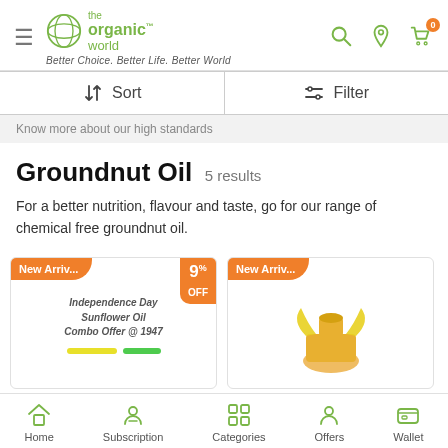[Figure (screenshot): The Organic World app header with hamburger menu, logo, tagline, search, location and cart icons]
Better Choice. Better Life. Better World
[Figure (screenshot): Sort and Filter toolbar with sort icon and filter icon]
Know more about our high standards
Groundnut Oil 5 results
For a better nutrition, flavour and taste, go for our range of chemical free groundnut oil.
[Figure (screenshot): Product card labelled New Arriv... with 9% OFF discount tag, showing Independence Day Sunflower Oil Combo Offer @ 1947 text and yellow highlight bar]
[Figure (screenshot): Product card labelled New Arriv... showing a yellow bottle product image]
[Figure (screenshot): Bottom navigation bar with Home, Subscription, Categories, Offers and Wallet icons]